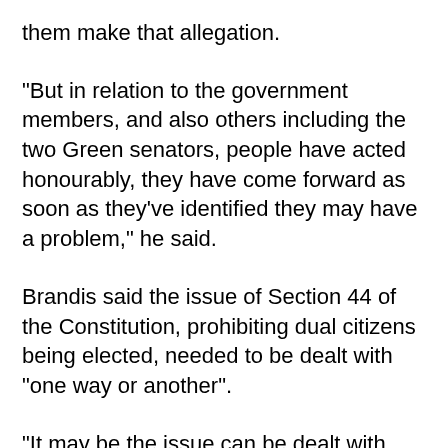them make that allegation.
"But in relation to the government members, and also others including the two Green senators, people have acted honourably, they have come forward as soon as they've identified they may have a problem," he said.
Brandis said the issue of Section 44 of the Constitution, prohibiting dual citizens being elected, needed to be dealt with “one way or another”.
“It may be the issue can be dealt with legislatively without putting the public to a referendum,” he said.
“Where 51% of people either were born overseas or have a parent who was born overseas, it sits oddly with the notion of a multicultural democracy that a provision...